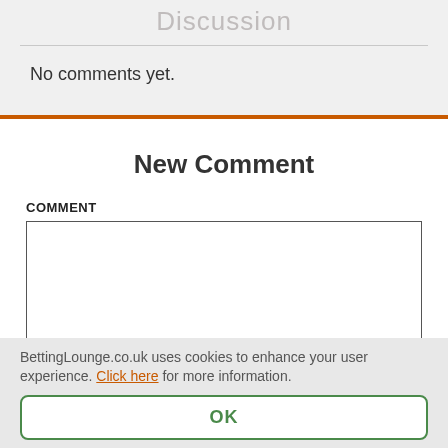Discussion
No comments yet.
New Comment
COMMENT
BettingLounge.co.uk uses cookies to enhance your user experience. Click here for more information.
OK